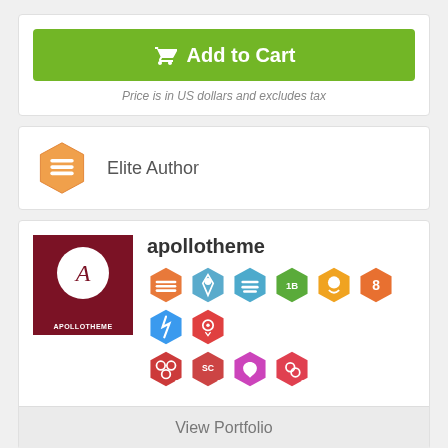[Figure (other): Green Add to Cart button with shopping cart icon]
Price is in US dollars and excludes tax
[Figure (other): Orange hexagon Elite Author badge with stack/layers icon]
Elite Author
[Figure (other): Apollotheme author profile with dark red avatar logo showing letter A, username apollotheme, and multiple achievement badges]
View Portfolio
Last Update
15 August 2017